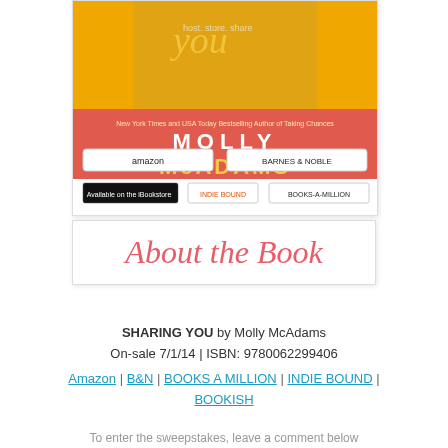[Figure (illustration): Book cover for 'Sharing You' by Molly McAdams showing two people, author name on coral/orange banner. Below the cover image are retailer buttons: Amazon, Barnes & Noble, iBookstore, IndieBound, Books-A-Million, with 'GET YOURS TODAY!' text.]
[Figure (illustration): Decorative box with cursive script reading 'About the Book' in coral/pink color on white background.]
SHARING YOU by Molly McAdams
On-sale 7/1/14 | ISBN: 9780062299406
Amazon | B&N | BOOKS A MILLION | INDIE BOUND | BOOKISH
To enter the sweepstakes, leave a comment below